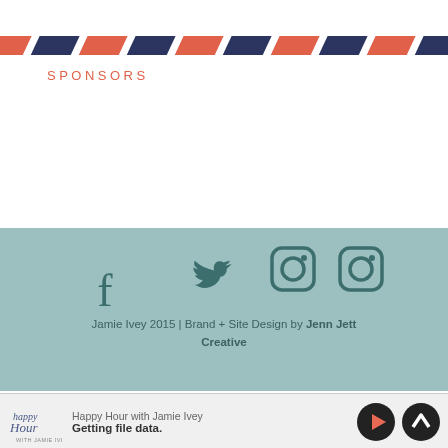[Figure (illustration): Decorative airmail-style border strip with diagonal red/coral and dark navy stripes at top of page]
SPONSORS
[Figure (infographic): Social media footer bar with Facebook, Twitter, and two Instagram icons in teal/dark teal color on a muted teal background]
Jamie Ivey 2015 | Brand + Site Design by Jenn Jett Creative
[Figure (logo): Happy Hour with Jamie Ivey podcast logo — cursive script in navy/slate blue]
Happy Hour with Jamie Ivey
Getting file data.
[Figure (illustration): Media player controls: coral play button and dark up/chevron button]